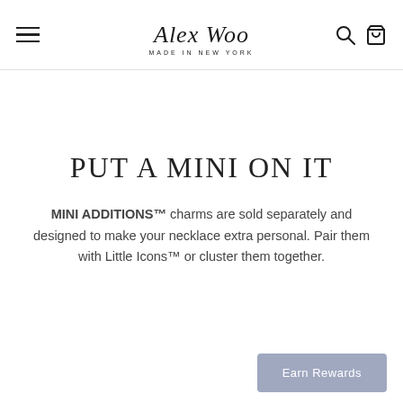Alex Woo — Made in New York
PUT A MINI ON IT
MINI ADDITIONS™ charms are sold separately and designed to make your necklace extra personal. Pair them with Little Icons™ or cluster them together.
Earn Rewards